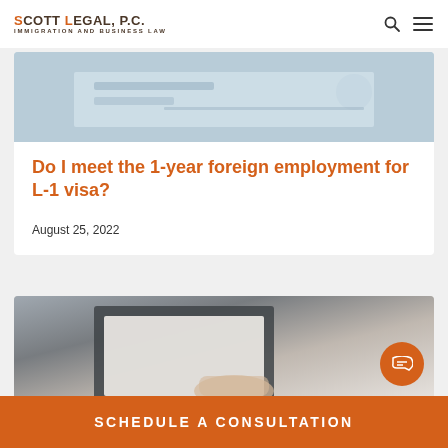SCOTT LEGAL, P.C. IMMIGRATION AND BUSINESS LAW
[Figure (photo): Blurred background image of a desk with papers and glasses, light blue tones]
Do I meet the 1-year foreign employment for L-1 visa?
August 25, 2022
[Figure (photo): Person holding a folder/document with a tablet visible, grey tones]
SCHEDULE A CONSULTATION